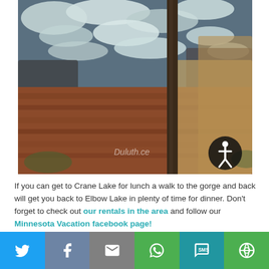[Figure (photo): Outdoor nature photo showing rushing white water rapids on a gorge with rocky terrain, reddish-brown pine needle ground cover, rocks, and a tree trunk in the foreground. A watermark partially reads 'Duluth.ce' and there is a circular accessibility icon in the lower right corner.]
If you can get to Crane Lake for lunch a walk to the gorge and back will get you back to Elbow Lake in plenty of time for dinner. Don't forget to check out our rentals in the area and follow our Minnesota Vacation facebook page!
Like this kind of post? Visit our Woods and Water category